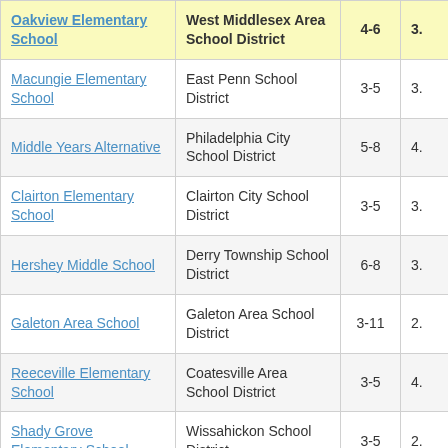| School | District | Grades | Score |
| --- | --- | --- | --- |
| Oakview Elementary School | West Middlesex Area School District | 4-6 | 3. |
| Macungie Elementary School | East Penn School District | 3-5 | 3. |
| Middle Years Alternative | Philadelphia City School District | 5-8 | 4. |
| Clairton Elementary School | Clairton City School District | 3-5 | 3. |
| Hershey Middle School | Derry Township School District | 6-8 | 3. |
| Galeton Area School | Galeton Area School District | 3-11 | 2. |
| Reeceville Elementary School | Coatesville Area School District | 3-5 | 4. |
| Shady Grove Elementary School | Wissahickon School District | 3-5 | 2. |